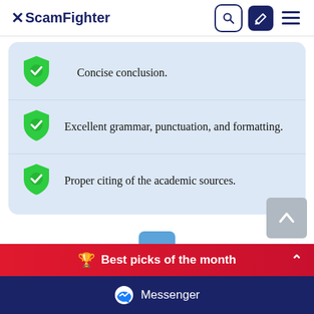ScamFighter
Concise conclusion.
Excellent grammar, punctuation, and formatting.
Proper citing of the academic sources.
Summing Up
🏆 Best picks of the month
Messenger